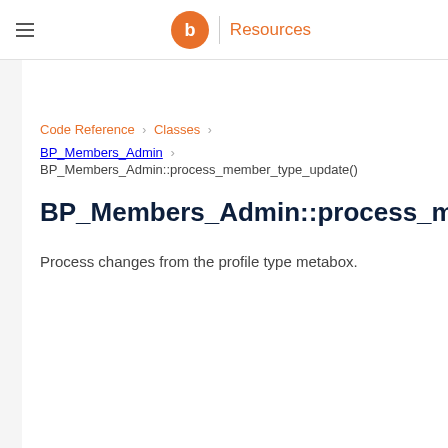Resources
Code Reference > Classes > BP_Members_Admin > BP_Members_Admin::process_member_type_update()
BP_Members_Admin::process_member_type_update()
Process changes from the profile type metabox.